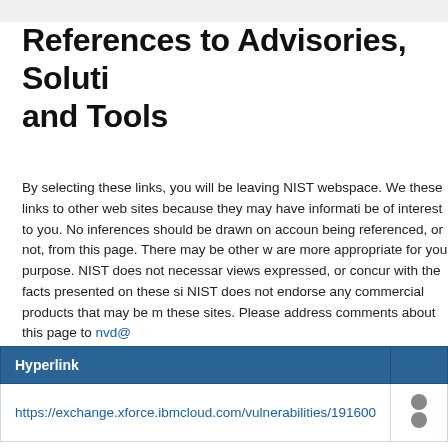References to Advisories, Solutions and Tools
By selecting these links, you will be leaving NIST webspace. We have provided these links to other web sites because they may have information that would be of interest to you. No inferences should be drawn on account of other sites being referenced, or not, from this page. There may be other web sites that are more appropriate for your purpose. NIST does not necessarily endorse the views expressed, or concur with the facts presented on these sites. Further, NIST does not endorse any commercial products that may be mentioned on these sites. Please address comments about this page to nvd@...
| Hyperlink |  |
| --- | --- |
| https://exchange.xforce.ibmcloud.com/vulnerabilities/191600 |  |